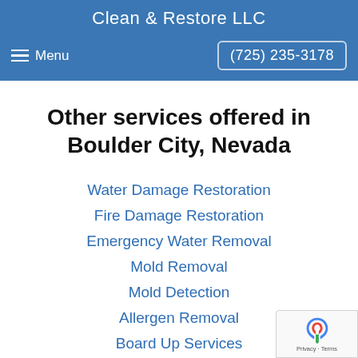Clean & Restore LLC
Menu  (725) 235-3178
Other services offered in Boulder City, Nevada
Water Damage Restoration
Fire Damage Restoration
Emergency Water Removal
Mold Removal
Mold Detection
Allergen Removal
Board Up Services
Burst Pipes